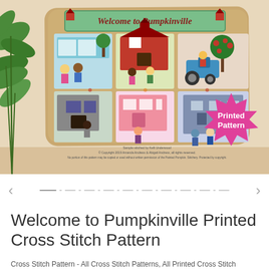[Figure (photo): Product photo of a cross-stitch embroidery pillow showing 'Welcome to Pumpkinville' design with six scenes of cartoon characters, buildings, and a tractor arranged in a 2x3 grid. A pink starburst badge reads 'Printed Pattern'. Green plant leaves visible at top-left. Small copyright text at bottom of image.]
Welcome to Pumpkinville Printed Cross Stitch Pattern
Cross Stitch Pattern - All Cross Stitch Patterns, All Printed Cross Stitch